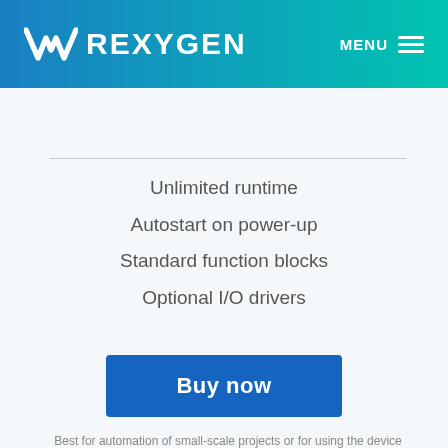REXYGEN — MENU
Unlimited runtime
Autostart on power-up
Standard function blocks
Optional I/O drivers
Buy now
Best for automation of small-scale projects or for using the device as a substation in a more complex setup (via REST API). The device can be controlled from outside the system on REX